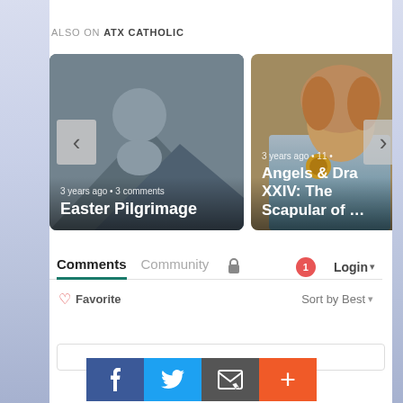ALSO ON ATX CATHOLIC
[Figure (screenshot): Two article cards in a carousel. Left card: placeholder grey image with person/mountain silhouette. Text overlay: '3 years ago • 3 comments' and 'Easter Pilgrimage'. Right card: photo of a woman. Text overlay: '3 years ago • 11 •' and 'Angels & Dra... XXIV: The Scapular of ...']
Comments  Community  🔒  [1]  Login ▾
♡ Favorite   Sort by Best ▾